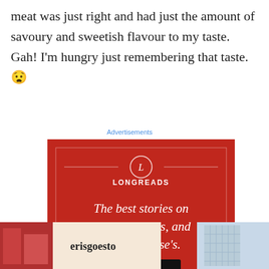meat was just right and had just the amount of savoury and sweetish flavour to my taste. Gah! I'm hungry just remembering that taste. 😧
Advertisements
[Figure (other): Longreads advertisement on red background. Text reads: 'The best stories on the web – ours, and everyone else's.' with a 'Start reading' button.]
[Figure (other): Bottom section showing erisgoesto blog branding with colorful food images on left and building on right.]